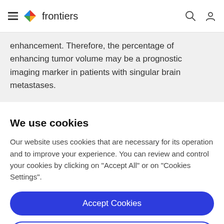frontiers
enhancement. Therefore, the percentage of enhancing tumor volume may be a prognostic imaging marker in patients with singular brain metastases.
We use cookies
Our website uses cookies that are necessary for its operation and to improve your experience. You can review and control your cookies by clicking on "Accept All" or on "Cookies Settings".
Accept Cookies
Cookies Settings